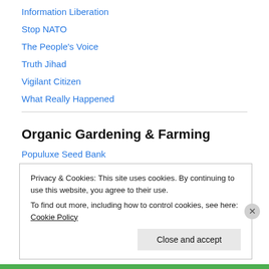Information Liberation
Stop NATO
The People's Voice
Truth Jihad
Vigilant Citizen
What Really Happened
Organic Gardening & Farming
Populuxe Seed Bank
Rosegathering Art Tour
Privacy & Cookies: This site uses cookies. By continuing to use this website, you agree to their use.
To find out more, including how to control cookies, see here: Cookie Policy